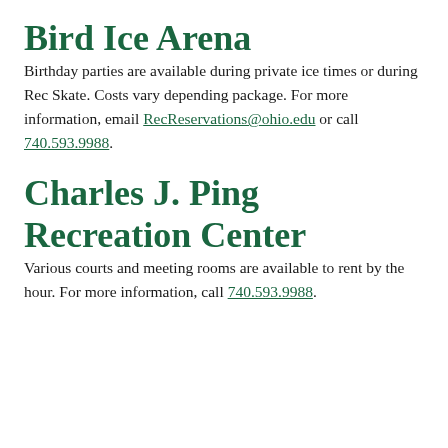Bird Ice Arena
Birthday parties are available during private ice times or during Rec Skate. Costs vary depending package. For more information, email RecReservations@ohio.edu or call 740.593.9988.
Charles J. Ping Recreation Center
Various courts and meeting rooms are available to rent by the hour. For more information, call 740.593.9988.